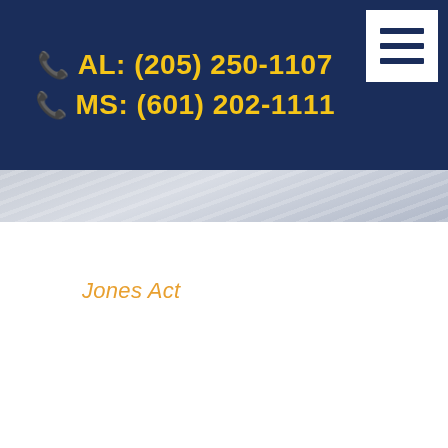AL: (205) 250-1107 | MS: (601) 202-1111
Jones Act